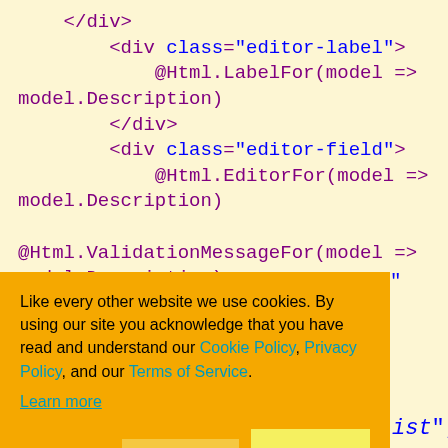[Figure (screenshot): Code editor screenshot showing HTML/Razor code with cookie consent overlay popup on an educational programming tutorial page]